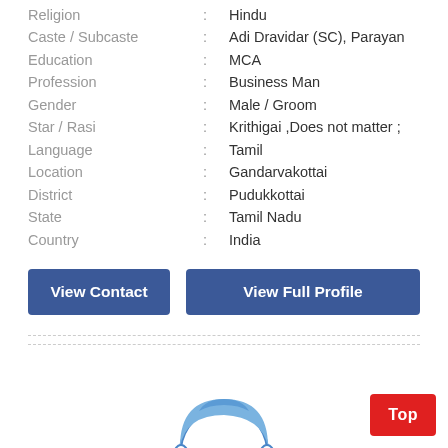Religion : Hindu
Caste / Subcaste : Adi Dravidar (SC), Parayan
Education : MCA
Profession : Business Man
Gender : Male / Groom
Star / Rasi : Krithigai ,Does not matter ;
Language : Tamil
Location : Gandarvakottai
District : Pudukkottai
State : Tamil Nadu
Country : India
View Contact | View Full Profile
[Figure (illustration): Placeholder avatar illustration of a male person with blue hair and white face outline]